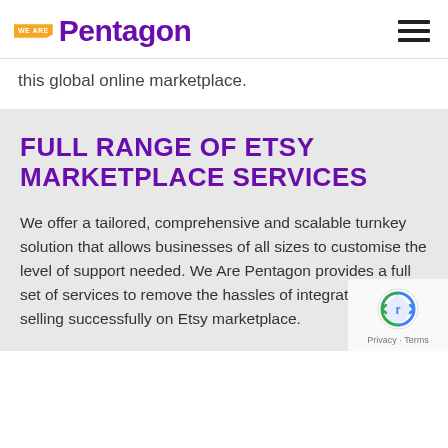[Figure (logo): We Are Pentagon logo with orange badge and purple text]
this global online marketplace.
FULL RANGE OF ETSY MARKETPLACE SERVICES
We offer a tailored, comprehensive and scalable turnkey solution that allows businesses of all sizes to customise the level of support needed. We Are Pentagon provides a full set of services to remove the hassles of integrating and selling successfully on Etsy marketplace.
[Figure (logo): Google reCAPTCHA badge with Privacy and Terms links]